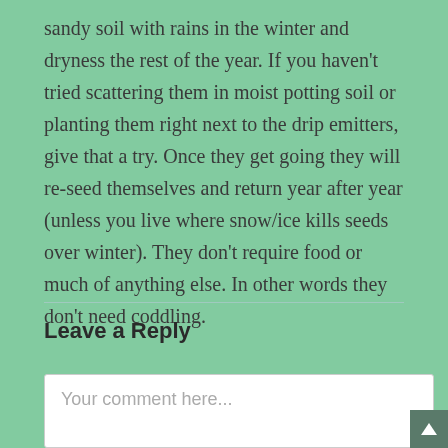sandy soil with rains in the winter and dryness the rest of the year. If you haven't tried scattering them in moist potting soil or planting them right next to the drip emitters, give that a try. Once they get going they will re-seed themselves and return year after year (unless you live where snow/ice kills seeds over winter). They don't require food or much of anything else. In other words they don't need coddling.
Leave a Reply
Your comment here...